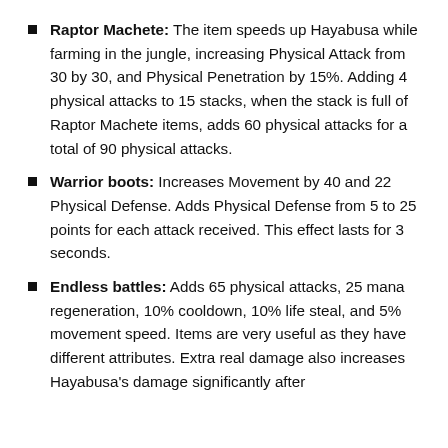Raptor Machete: The item speeds up Hayabusa while farming in the jungle, increasing Physical Attack from 30 by 30, and Physical Penetration by 15%. Adding 4 physical attacks to 15 stacks, when the stack is full of Raptor Machete items, adds 60 physical attacks for a total of 90 physical attacks.
Warrior boots: Increases Movement by 40 and 22 Physical Defense. Adds Physical Defense from 5 to 25 points for each attack received. This effect lasts for 3 seconds.
Endless battles: Adds 65 physical attacks, 25 mana regeneration, 10% cooldown, 10% life steal, and 5% movement speed. Items are very useful as they have different attributes. Extra real damage also increases Hayabusa's damage significantly after